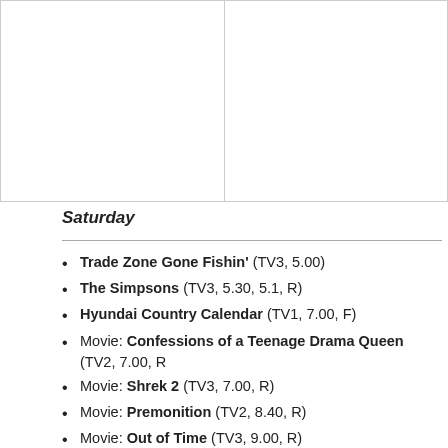|  |  |
Saturday
Trade Zone Gone Fishin' (TV3, 5.00)
The Simpsons (TV3, 5.30, 5.1, R)
Hyundai Country Calendar (TV1, 7.00, F)
Movie: Confessions of a Teenage Drama Queen (TV2, 7.00, R)
Movie: Shrek 2 (TV3, 7.00, R)
Movie: Premonition (TV2, 8.40, R)
Movie: Out of Time (TV3, 9.00, R)
Last Tango in Halifax (TV1, 9.35, F)
Movie: Extract (TV2, 10.40, R)
Vera (TV1, 10.45, R)